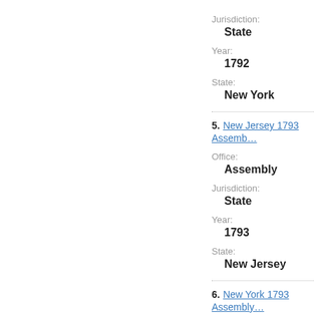Jurisdiction:
State
Year:
1792
State:
New York
5. New Jersey 1793 Assemb…
Office:
Assembly
Jurisdiction:
State
Year:
1793
State:
New Jersey
6. New York 1793 Assembly…
Office: